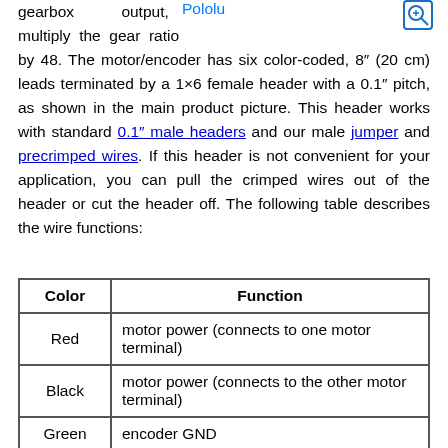gearbox output, multiply the gear ratio by 48. The motor/encoder has six color-coded, 8" (20 cm) leads terminated by a 1×6 female header with a 0.1" pitch, as shown in the main product picture. This header works with standard 0.1" male headers and our male jumper and precrimped wires. If this header is not convenient for your application, you can pull the crimped wires out of the header or cut the header off. The following table describes the wire functions:
| Color | Function |
| --- | --- |
| Red | motor power (connects to one motor terminal) |
| Black | motor power (connects to the other motor terminal) |
| Green | encoder GND |
| Blue | encoder Vcc (3.5 V to 20 V) |